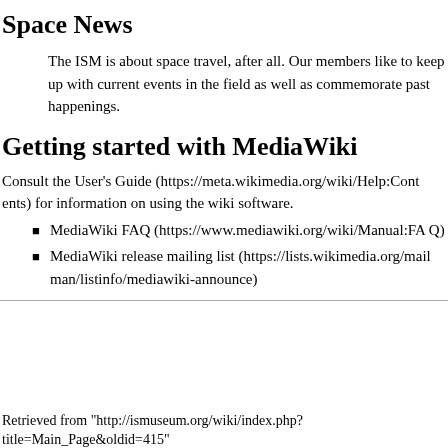Space News
The ISM is about space travel, after all. Our members like to keep up with current events in the field as well as commemorate past happenings.
Getting started with MediaWiki
Consult the User's Guide (https://meta.wikimedia.org/wiki/Help:Contents) for information on using the wiki software.
MediaWiki FAQ (https://www.mediawiki.org/wiki/Manual:FAQ)
MediaWiki release mailing list (https://lists.wikimedia.org/mailman/listinfo/mediawiki-announce)
Retrieved from "http://ismuseum.org/wiki/index.php?title=Main_Page&oldid=415"